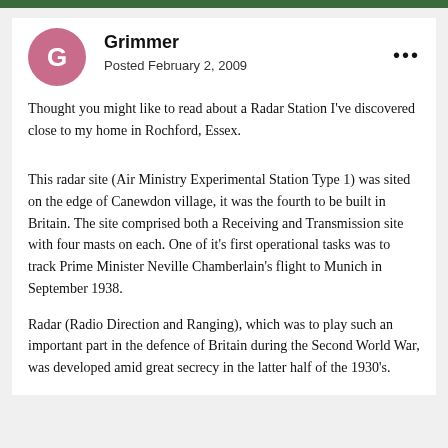Grimmer
Posted February 2, 2009
Thought you might like to read about a Radar Station I've discovered close to my home in Rochford, Essex.
This radar site (Air Ministry Experimental Station Type 1) was sited on the edge of Canewdon village, it was the fourth to be built in Britain. The site comprised both a Receiving and Transmission site with four masts on each. One of it's first operational tasks was to track Prime Minister Neville Chamberlain's flight to Munich in September 1938.
Radar (Radio Direction and Ranging), which was to play such an important part in the defence of Britain during the Second World War, was developed amid great secrecy in the latter half of the 1930's.